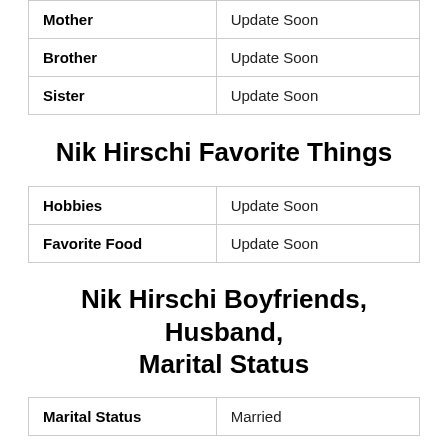| Mother | Update Soon |
| Brother | Update Soon |
| Sister | Update Soon |
Nik Hirschi Favorite Things
| Hobbies | Update Soon |
| Favorite Food | Update Soon |
Nik Hirschi Boyfriends, Husband, Marital Status
| Marital Status | Married |